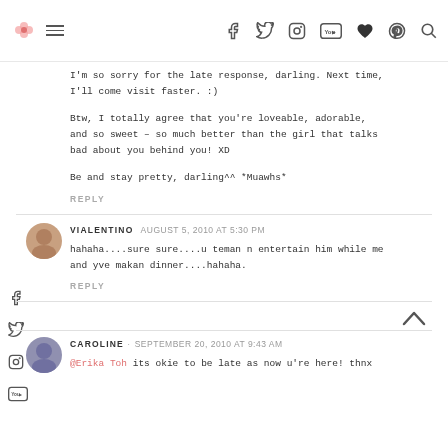Blog navigation header with logo, hamburger menu, and social icons (Facebook, Twitter, Instagram, YouTube, heart, Pinterest, search)
I'm so sorry for the late response, darling. Next time, I'll come visit faster. :)
Btw, I totally agree that you're loveable, adorable, and so sweet – so much better than the girl that talks bad about you behind you! XD
Be and stay pretty, darling^^ *Muawhs*
REPLY
VIALENTINO  AUGUST 5, 2010 AT 5:30 PM
hahaha....sure sure....u teman n entertain him while me and yve makan dinner....hahaha.
REPLY
CAROLINE · SEPTEMBER 20, 2010 AT 9:43 AM
@Erika Toh its okie to be late as now u're here! thnx